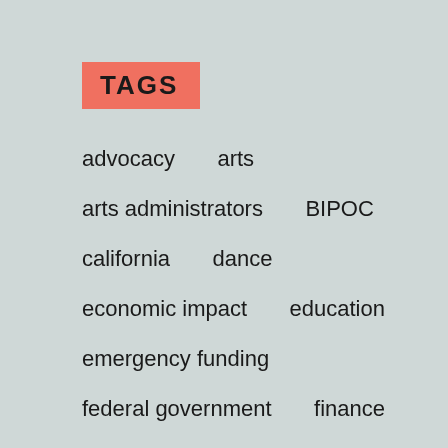TAGS
advocacy
arts
arts administrators
BIPOC
california
dance
economic impact
education
emergency funding
federal government
finance
freelancers
grants
how to
individual artists
International